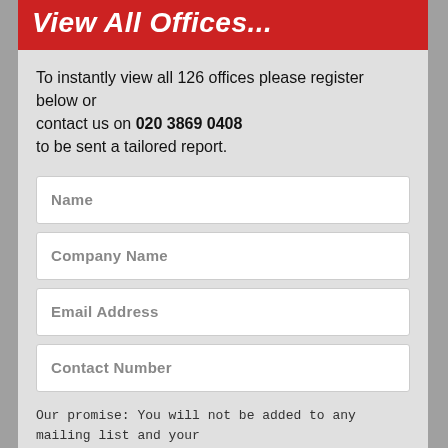View All Offices...
To instantly view all 126 offices please register below or contact us on 020 3869 0408 to be sent a tailored report.
Name
Company Name
Email Address
Contact Number
Our promise: You will not be added to any mailing list and your details will not be passed to any third parties.
View all offices now